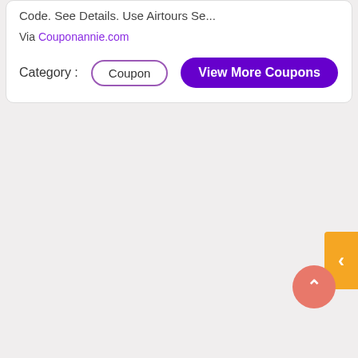Code. See Details. Use Airtours Se...
Via Couponannie.com
Category :  Coupon  View More Coupons
[Figure (other): Orange left-arrow navigation tab on the right edge of the page]
[Figure (other): Salmon/coral colored scroll-to-top button with upward chevron arrow, circular, bottom-right area]